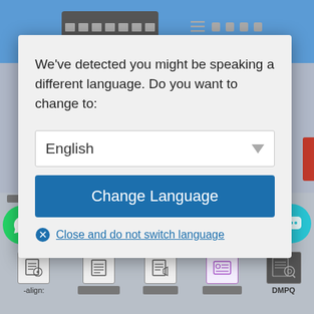[Figure (screenshot): Website header top bar with redacted text and hamburger menu icon on blue background]
We've detected you might be speaking a different language. Do you want to change to:
[Figure (screenshot): Dropdown selector showing 'English' with a down arrow]
[Figure (screenshot): Blue button labeled 'Change Language']
Close and do not switch language
[Figure (screenshot): Bottom navigation bar with WhatsApp icon, redacted heading 2021, and document icons including DMPQ, with labels -align:, and redacted text labels]